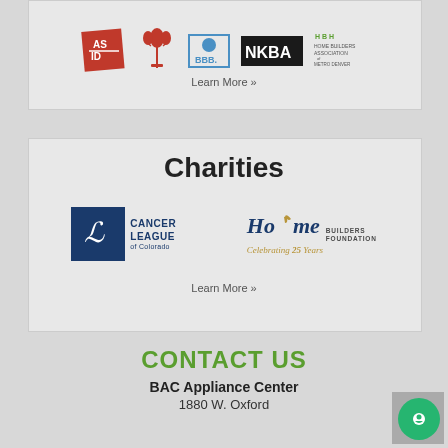[Figure (logo): Row of membership/certification logos: ASID, a wheat/grain award logo, BBB (Better Business Bureau), NKBA, Home Builders Association of Metro Denver]
Learn More »
Charities
[Figure (logo): Cancer League of Colorado logo and Home Builders Foundation Celebrating 25 Years logo]
Learn More »
CONTACT US
BAC Appliance Center
1880 W. Oxford